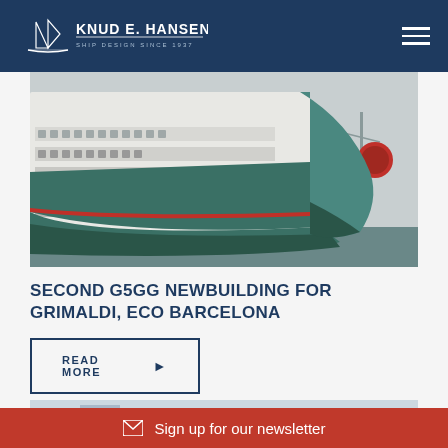KNUD E. HANSEN — SHIP DESIGN SINCE 1937
[Figure (photo): Large green-hulled RoRo/ferry ship bow at port, viewed at close angle from below, white superstructure with multiple decks, red mooring rope visible on right]
SECOND G5GG NEWBUILDING FOR GRIMALDI, ECO BARCELONA
READ MORE
[Figure (photo): Smaller ferry or fast craft vessels docked at port, white hulls, calm water, industrial harbor background]
Sign up for our newsletter